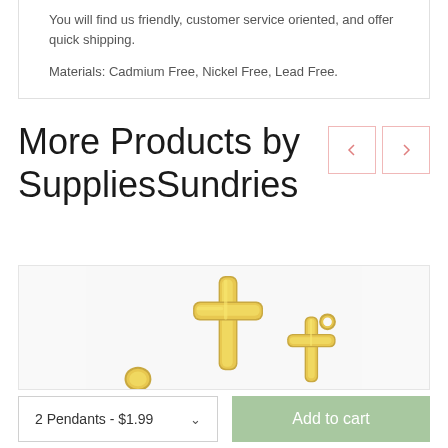You will find us friendly, customer service oriented, and offer quick shipping.
Materials: Cadmium Free, Nickel Free, Lead Free.
More Products by SuppliesSundries
[Figure (photo): Gold cross pendants jewelry product photo showing two gold cross charms]
2 Pendants - $1.99
Add to cart